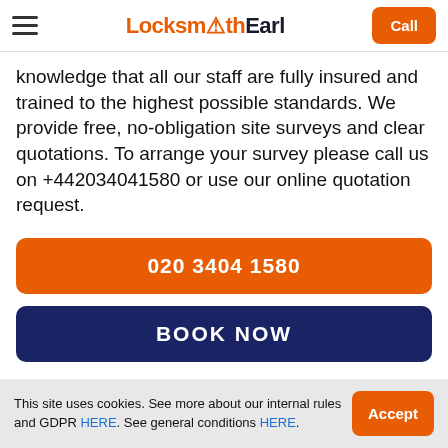Locksmith Earl | Call
knowledge that all our staff are fully insured and trained to the highest possible standards. We provide free, no-obligation site surveys and clear quotations. To arrange your survey please call us on +442034041580 or use our online quotation request.
020 3404 1580
BOOK NOW
This site uses cookies. See more about our internal rules and GDPR HERE. See general conditions HERE.